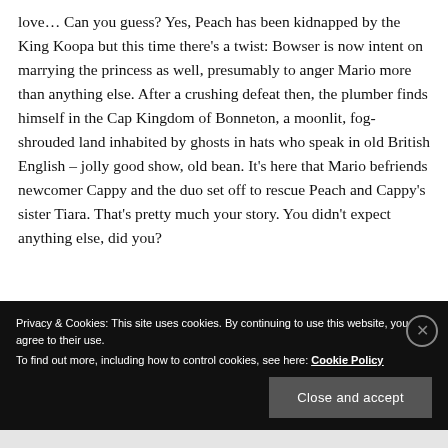love… Can you guess? Yes, Peach has been kidnapped by the King Koopa but this time there's a twist: Bowser is now intent on marrying the princess as well, presumably to anger Mario more than anything else. After a crushing defeat then, the plumber finds himself in the Cap Kingdom of Bonneton, a moonlit, fog-shrouded land inhabited by ghosts in hats who speak in old British English – jolly good show, old bean. It's here that Mario befriends newcomer Cappy and the duo set off to rescue Peach and Cappy's sister Tiara. That's pretty much your story. You didn't expect anything else, did you?
Privacy & Cookies: This site uses cookies. By continuing to use this website, you agree to their use.
To find out more, including how to control cookies, see here: Cookie Policy